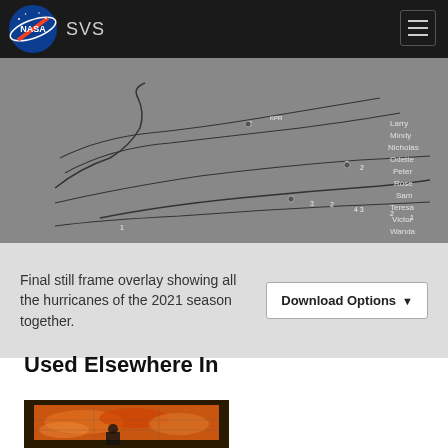NASA SVS
[Figure (other): Hurricane track overlay image showing paths of all 2021 Atlantic hurricane season storms with storm names listed on the right: Larry, Mindy, Nicholas, Odette, Peter, Rose, Sam, Teresa, Victor, Wanda. Track lines with intensity numbers visible on a gray background.]
Final still frame overlay showing all the hurricanes of the 2021 season together.
Used Elsewhere In
[Figure (screenshot): Thumbnail image showing a large display screen with orange/red global imagery, with a person standing in front of it.]